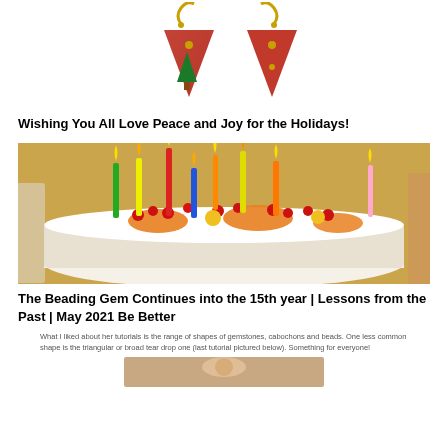[Figure (photo): Photo of two red Christmas tree-shaped earrings with gold hooks and green Christmas tree motif]
Wishing You All Love Peace and Joy for the Holidays!
[Figure (photo): Photo of a birthday/celebration cake with colorful candles, red berries, and orange fruit slices]
The Beading Gem Continues into the 15th year | Lessons from the Past | May 2021 Be Better
What I liked about her tutorials is the range of shapes of gemstones, cabochons and beads. One less common shape is the triangular or broad tear drop one (last tutorial pictured below). Something for everyone!
[Figure (photo): Partial image at bottom of page, appears to be a crafts/beading related photo]